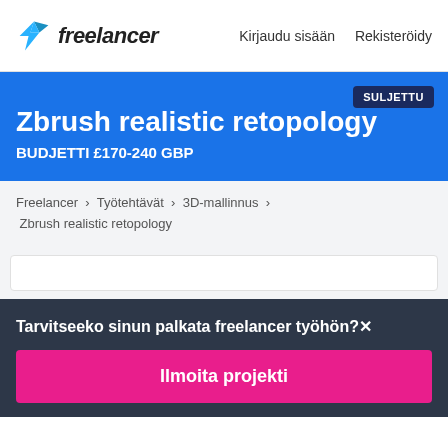freelancer   Kirjaudu sisään   Rekisteröidy
Zbrush realistic retopology
BUDJETTI £170-240 GBP
SULJETTU
Freelancer › Työtehtävät › 3D-mallinnus › Zbrush realistic retopology
Tarvitseeko sinun palkata freelancer työhön?
Ilmoita projekti